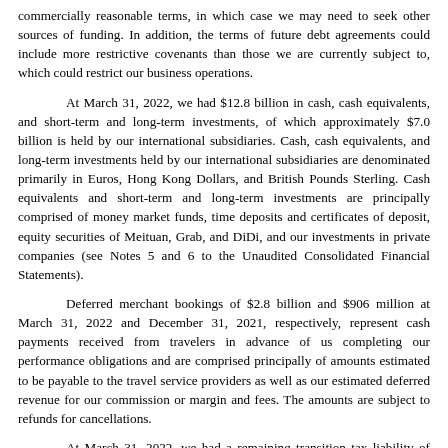commercially reasonable terms, in which case we may need to seek other sources of funding. In addition, the terms of future debt agreements could include more restrictive covenants than those we are currently subject to, which could restrict our business operations.
At March 31, 2022, we had $12.8 billion in cash, cash equivalents, and short-term and long-term investments, of which approximately $7.0 billion is held by our international subsidiaries. Cash, cash equivalents, and long-term investments held by our international subsidiaries are denominated primarily in Euros, Hong Kong Dollars, and British Pounds Sterling. Cash equivalents and short-term and long-term investments are principally comprised of money market funds, time deposits and certificates of deposit, equity securities of Meituan, Grab, and DiDi, and our investments in private companies (see Notes 5 and 6 to the Unaudited Consolidated Financial Statements).
Deferred merchant bookings of $2.8 billion and $906 million at March 31, 2022 and December 31, 2021, respectively, represent cash payments received from travelers in advance of us completing our performance obligations and are comprised principally of amounts estimated to be payable to the travel service providers as well as our estimated deferred revenue for our commission or margin and fees. The amounts are subject to refunds for cancellations.
At March 31, 2022, we had a remaining transition tax liability of $912 million as a result of the Tax Cuts and Jobs Act (the "Tax Act"), which included $825 million reported as "Long-term U.S. transition tax liability" and $87 million included in "Accrued expenses and other current liabilities" in the Consolidated Balance Sheet. This liability will be paid over the next five years. In accordance with the Tax Act, generally, future repatriation of our international